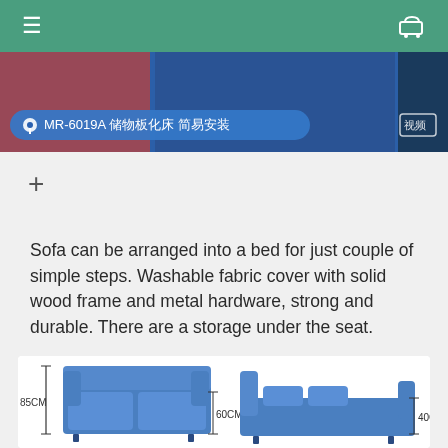≡  🛒
[Figure (screenshot): Product image showing a blue sofa-bed with Chinese text label 'MR-6019A 储物板化床 简易安装' and a video badge]
+
Sofa can be arranged into a bed for just couple of simple steps. Washable fabric cover with solid wood frame and metal hardware, strong and durable. There are a storage under the seat.
[Figure (engineering-diagram): Two diagrams of blue sofa/sofa-bed with dimension annotations: 85CM height, 60CM depth for sofa mode; 40CM height for bed mode]